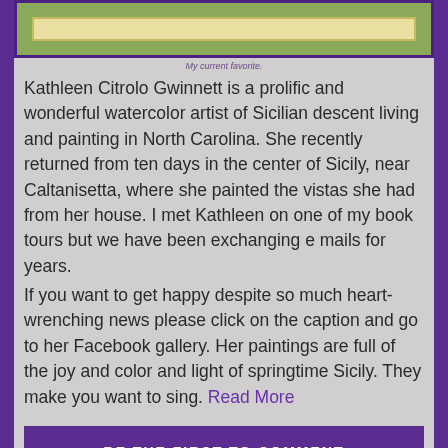[Figure (illustration): Partial view of a painting or artwork image with green background and light-colored inner frame, cropped at top of page.]
My current favorite.
Kathleen Citrolo Gwinnett is a prolific and wonderful watercolor artist of Sicilian descent living and painting in North Carolina. She recently returned from ten days in the center of Sicily, near Caltanisetta, where she painted the vistas she had from her house. I met Kathleen on one of my book tours but we have been exchanging e mails for years.
If you want to get happy despite so much heart-wrenching news please click on the caption and go to her Facebook gallery. Her paintings are full of the joy and color and light of springtime Sicily. They make you want to sing. Read More
BE THE FIRST TO COMMENT
New York Does It...